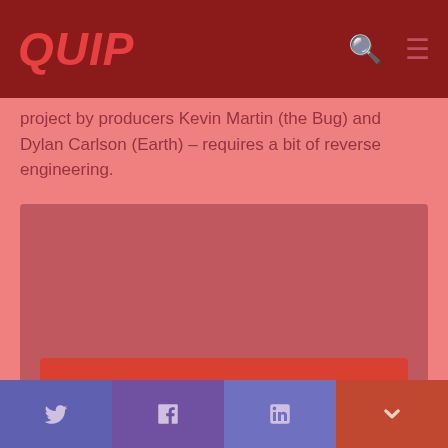QUIP
project by producers Kevin Martin (the Bug) and Dylan Carlson (Earth) – requires a bit of reverse engineering.
[Figure (screenshot): SoundCloud embedded player showing QUIP logo in the center, a red 'Play on SoundCloud' button, and a 'Listen in browser' button below with waveform graphic.]
[Figure (infographic): Social sharing buttons row: Twitter (bird icon), Facebook (f icon), LinkedIn (in icon), Pocket (red, m icon)]